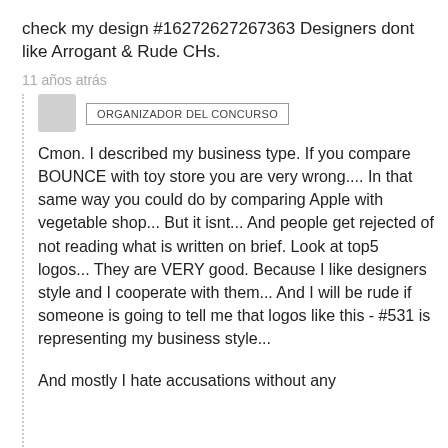check my design #16272627267363 Designers dont like Arrogant & Rude CHs.
11 años atrás
ORGANIZADOR DEL CONCURSO
Cmon. I described my business type. If you compare BOUNCE with toy store you are very wrong.... In that same way you could do by comparing Apple with vegetable shop... But it isnt... And people get rejected of not reading what is written on brief. Look at top5 logos... They are VERY good. Because I like designers style and I cooperate with them... And I will be rude if someone is going to tell me that logos like this - #531 is representing my business style...
And mostly I hate accusations without any